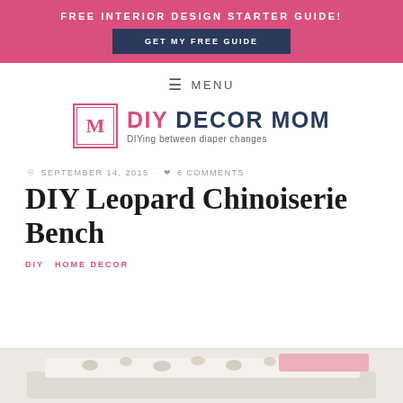FREE INTERIOR DESIGN STARTER GUIDE!
GET MY FREE GUIDE
≡ MENU
[Figure (logo): DIY Decor Mom logo with monogram M in a decorative square frame on the left, and the text 'DIY DECOR MOM' in pink and navy with tagline 'DIYing between diaper changes']
⊙SEPTEMBER 14, 2015 · ♥6 COMMENTS
DIY Leopard Chinoiserie Bench
DIY  HOME DECOR
[Figure (photo): Partial bottom image showing a leopard print bench with pink fabric cushion, cut off at bottom of page]